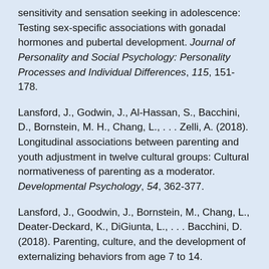sensitivity and sensation seeking in adolescence: Testing sex-specific associations with gonadal hormones and pubertal development. Journal of Personality and Social Psychology: Personality Processes and Individual Differences, 115, 151-178.
Lansford, J., Godwin, J., Al-Hassan, S., Bacchini, D., Bornstein, M. H., Chang, L., . . . Zelli, A. (2018). Longitudinal associations between parenting and youth adjustment in twelve cultural groups: Cultural normativeness of parenting as a moderator. Developmental Psychology, 54, 362-377.
Lansford, J., Goodwin, J., Bornstein, M., Chang, L., Deater-Deckard, K., DiGiunta, L., . . . Bacchini, D. (2018). Parenting, culture, and the development of externalizing behaviors from age 7 to 14.